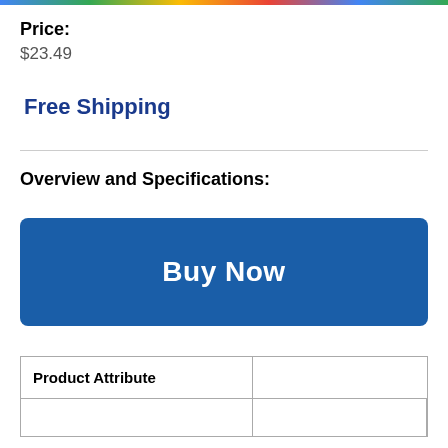Price:
$23.49
Free Shipping
Overview and Specifications:
[Figure (other): Blue 'Buy Now' button]
| Product Attribute |  |
| --- | --- |
|  |  |